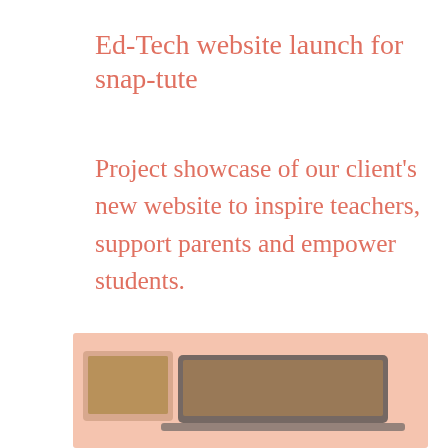Ed-Tech website launch for snap-tute
Project showcase of our client's new website to inspire teachers, support parents and empower students.
[Figure (photo): Screenshot mockup showing devices (laptop and tablet) displaying a website on a peach/salmon colored background]